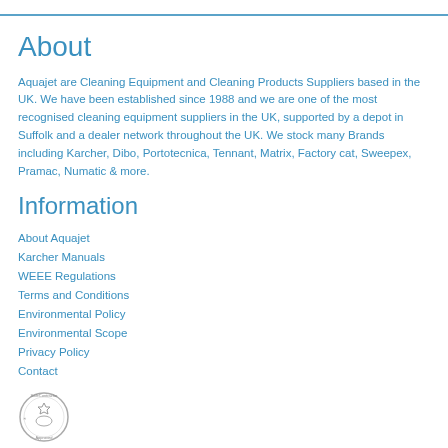About
Aquajet are Cleaning Equipment and Cleaning Products Suppliers based in the UK. We have been established since 1988 and we are one of the most recognised cleaning equipment suppliers in the UK, supported by a depot in Suffolk and a dealer network throughout the UK. We stock many Brands including Karcher, Dibo, Portotecnica, Tennant, Matrix, Factory cat, Sweepex, Pramac, Numatic & more.
Information
About Aquajet
Karcher Manuals
WEEE Regulations
Terms and Conditions
Environmental Policy
Environmental Scope
Privacy Policy
Contact
[Figure (logo): SafeContractor Approved circular logo badge]
Products